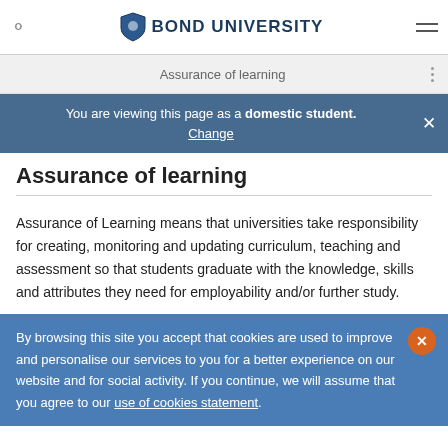BOND UNIVERSITY
Assurance of learning
You are viewing this page as a domestic student. Change
Assurance of learning
Assurance of Learning means that universities take responsibility for creating, monitoring and updating curriculum, teaching and assessment so that students graduate with the knowledge, skills and attributes they need for employability and/or further study.
By browsing this site you accept that cookies are used to improve and personalise our services to you for a better experience on our website and for social activity. If you continue, we will assume that you agree to our use of cookies statement.